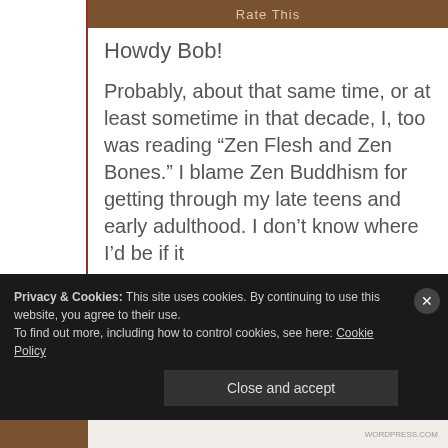Rate This
Howdy Bob!
Probably, about that same time, or at least sometime in that decade, I, too was reading “Zen Flesh and Zen Bones.” I blame Zen Buddhism for getting through my late teens and early adulthood. I don’t know where I’d be if it
Privacy & Cookies: This site uses cookies. By continuing to use this website, you agree to their use.
To find out more, including how to control cookies, see here: Cookie Policy
Close and accept